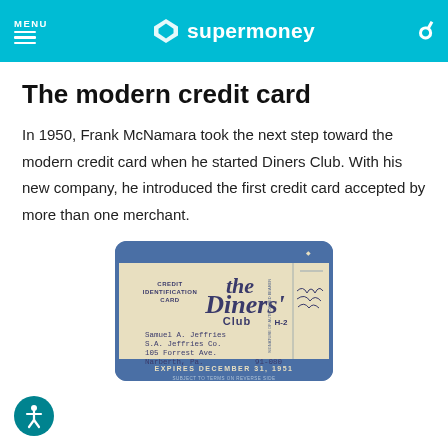MENU | supermoney
The modern credit card
In 1950, Frank McNamara took the next step toward the modern credit card when he started Diners Club. With his new company, he introduced the first credit card accepted by more than one merchant.
[Figure (photo): Vintage Diners Club credit identification card belonging to Samuel A. Jeffries, S.A. Jeffries Co., 105 Forrest Ave., Narberth, Pa., number 91-080, expires December 31, 1951]